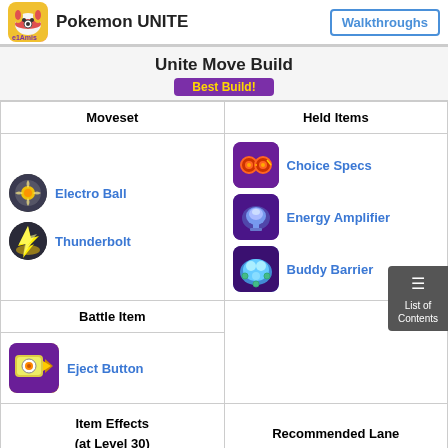Pokemon UNITE | Walkthroughs
Unite Move Build
Best Build!
| Moveset | Held Items |
| --- | --- |
| Electro Ball / Thunderbolt | Choice Specs / Energy Amplifier / Buddy Barrier |
| Battle Item |  |
| Eject Button |  |
| Item Effects (at Level 30) | Recommended Lane |
| Sp. Atk: +39
HP: +450 | Top Lane |